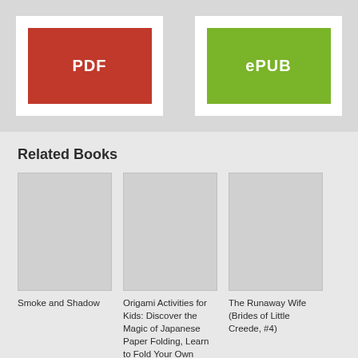[Figure (illustration): PDF format button - red rectangle with white text 'PDF']
[Figure (illustration): ePUB format button - green rectangle with white text 'ePUB']
Related Books
[Figure (illustration): Book cover placeholder for Smoke and Shadow]
Smoke and Shadow
[Figure (illustration): Book cover placeholder for Origami Activities for Kids]
Origami Activities for Kids: Discover the Magic of Japanese Paper Folding, Learn to Fold Your Own Paper Models
[Figure (illustration): Book cover placeholder for The Runaway Wife (Brides of Little Creede, #4)]
The Runaway Wife (Brides of Little Creede, #4)
[Figure (illustration): Book cover placeholder row 2 book 1]
[Figure (illustration): Book cover placeholder row 2 book 2]
[Figure (illustration): Book cover placeholder row 2 book 3]